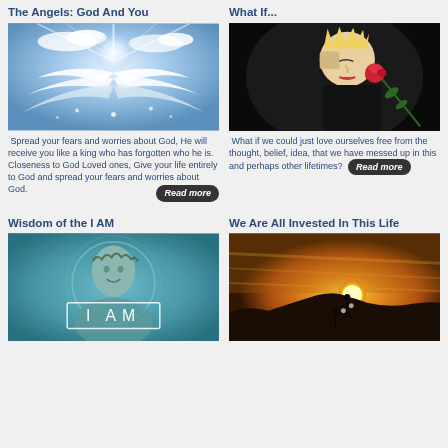The Angels: God And You
[Figure (photo): Angel wings glowing with bright light against a blue sky with clouds]
Spread your fears and worries about God, He will receive you like a king who has forgotten who he is. Closeness to God Loved ones, Give your life entirely to God and spread your fears and worries about God. Read more
What If...
[Figure (photo): Person with blonde spiky hair smelling a red rose against a dark background]
What if we could just love ourselves free from the thought, belief, idea, that we have messed up in this and perhaps other lifetimes? Read more
Wisdom of the I AM
[Figure (photo): Person with crown of thorns and I AM text in white box on teal background]
We Are All Invested In This Life
[Figure (photo): Silhouette of two people on a mountain peak with golden sunset and sun in background]